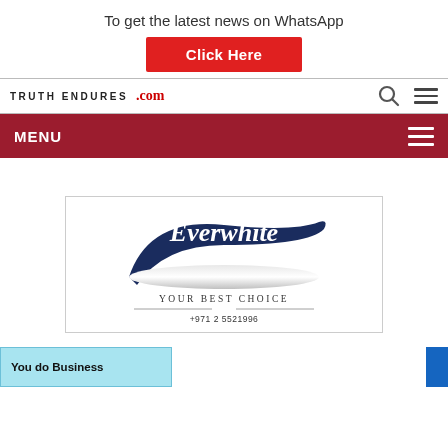To get the latest news on WhatsApp
Click Here
TRUTH ENDURES .com
MENU
[Figure (logo): Everwhite brand advertisement with navy swoosh logo, tagline YOUR BEST CHOICE, phone +971 2 5521996]
[Figure (illustration): Bottom advertisement banner: cyan box with 'You do Business' text on left, partial logo in center, blue rectangle on right]